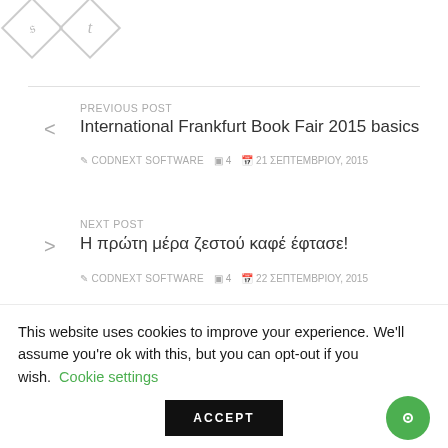[Figure (logo): Two social sharing icon buttons (StumbleUpon and Tumblr) rendered as diamond/rotated square shapes with grey outlines and grey icons inside.]
PREVIOUS POST
International Frankfurt Book Fair 2015 basics
✏ CODNEXT SOFTWARE   ✉ 4   📅 21 ΣΕΠΤΕΜΒΡΙΟΥ, 2015
NEXT POST
Η πρώτη μέρα ζεστού καφέ έφτασε!
✏ CODNEXT SOFTWARE   ✉ 4   📅 22 ΣΕΠΤΕΜΒΡΙΟΥ, 2015
This website uses cookies to improve your experience. We'll assume you're ok with this, but you can opt-out if you wish. Cookie settings
ACCEPT